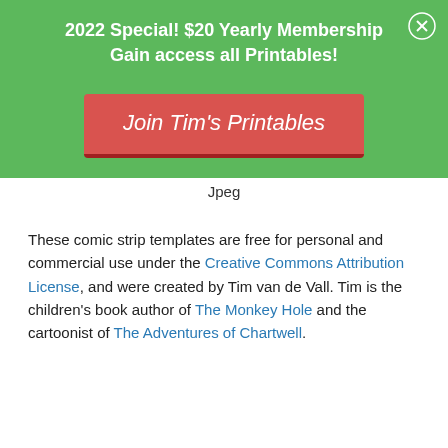2022 Special! $20 Yearly Membership
Gain access all Printables!
[Figure (other): Green promotional banner with red 'Join Tim's Printables' button and close (X) icon]
Jpeg
These comic strip templates are free for personal and commercial use under the Creative Commons Attribution License, and were created by Tim van de Vall. Tim is the children's book author of The Monkey Hole and the cartoonist of The Adventures of Chartwell.